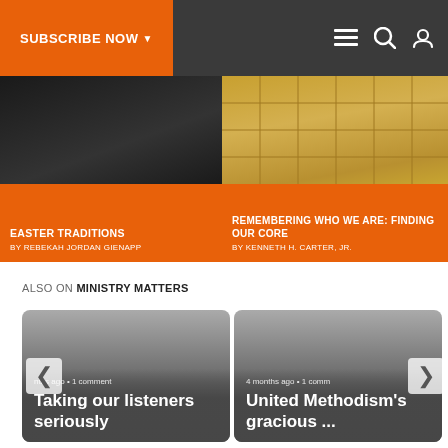SUBSCRIBE NOW | Navigation bar with menu, search, and account icons
EASTER TRADITIONS
BY REBEKAH JORDAN GIENAPP
REMEMBERING WHO WE ARE: FINDING OUR CORE
BY KENNETH H. CARTER, JR.
ALSO ON MINISTRY MATTERS
nths ago • 1 comment
Taking our listeners seriously
4 months ago • 1 comm
United Methodism's gracious ...